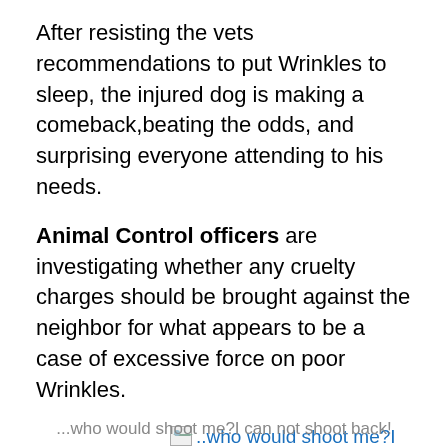After resisting the vets recommendations to put Wrinkles to sleep, the injured dog is making a comeback,beating the odds, and surprising everyone attending to his needs.
Animal Control officers are investigating whether any cruelty charges should be brought against the neighbor for what appears to be a case of excessive force on poor Wrinkles.
[Figure (photo): Broken image placeholder with alt text: '..who would shoot me?I can not shoot back!']
...who would shoot me?I can not shoot back!